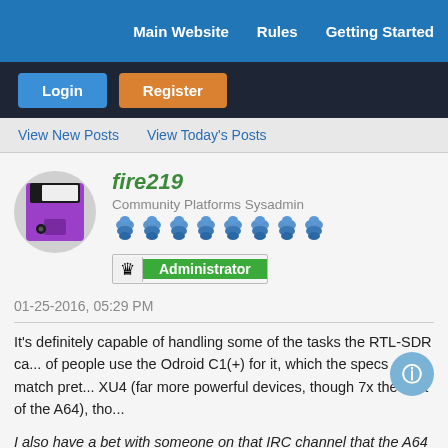Main Website    Rules    Getting Started
Login    Register
View New Posts    View Today's Posts
[Figure (illustration): Purple floppy disk avatar icon in a circular grey background]
fire219
Community Platforms Sysadmin
[Figure (other): Row of 8 blue pine cone rank icons]
Administrator
01-25-2016, 05:29 PM
It's definitely capable of handling some of the tasks the RTL-SDR ca... of people use the Odroid C1(+) for it, which the specs of match pret... XU4 (far more powerful devices, though 7x the cost of the A64), tho...
I also have a bet with someone on that IRC channel that the A64 be...
Community administrator and sysadmin for PINE64